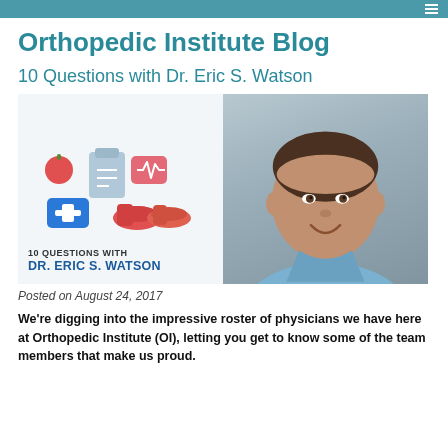Orthopedic Institute Blog
10 Questions with Dr. Eric S. Watson
[Figure (photo): Promotional banner image showing medical/health icons on the left and a photo of Dr. Eric S. Watson in blue scrubs on the right, with text '10 QUESTIONS WITH DR. ERIC S. WATSON']
Posted on August 24, 2017
We're digging into the impressive roster of physicians we have here at Orthopedic Institute (OI), letting you get to know some of the team members that make us proud.